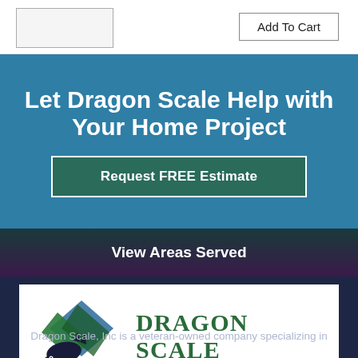[Figure (other): Partial product image placeholder box at top left]
Add To Cart
Let Dragon Scale Help with Your Home Project
Request FREE Estimate
View Areas Served
[Figure (logo): Dragon Scale company logo: dragon and window panels graphic with 'DRAGON SCALE' text in dark green serif font]
Dragon Scale, Inc is a veteran-owned company specializing in